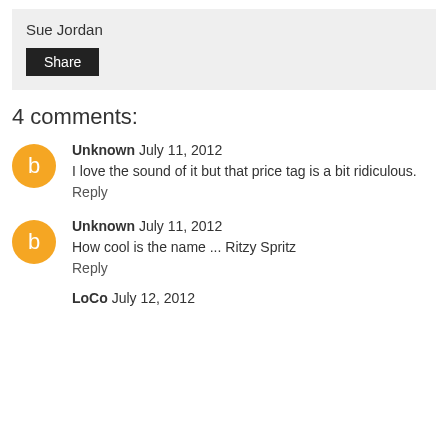Sue Jordan
Share
4 comments:
Unknown July 11, 2012
I love the sound of it but that price tag is a bit ridiculous.
Reply
Unknown July 11, 2012
How cool is the name ... Ritzy Spritz
Reply
LoCo July 12, 2012